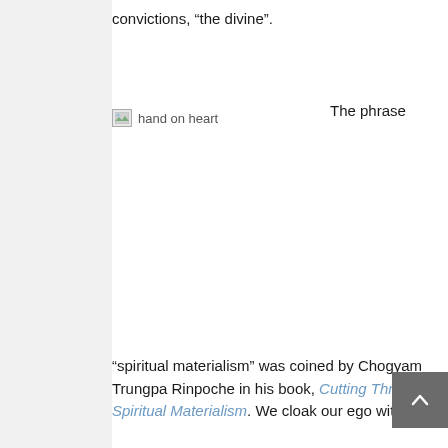convictions, “the divine”.
[Figure (photo): Image placeholder showing broken image icon with alt text 'hand on heart']
The phrase
“spiritual materialism” was coined by Chogyam Trungpa Rinpoche in his book, Cutting Through Spiritual Materialism. We cloak our ego with